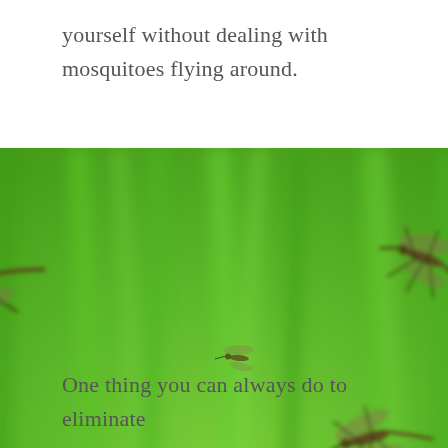yourself without dealing with mosquitoes flying around.
[Figure (photo): Close-up photo of multiple mosquitoes flying against a blurred bright green grass background. About 7-8 mosquitoes are visible in various positions and orientations.]
One thing you can always do to eliminate